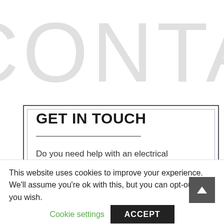[Figure (other): Large light gray watermark text reading 'CONTA' cropped at edges, serving as decorative background text]
GET IN TOUCH
Do you need help with an electrical project? Fill out this form to get in touch.
This website uses cookies to improve your experience. We'll assume you're ok with this, but you can opt-out if you wish.
Cookie settings
ACCEPT